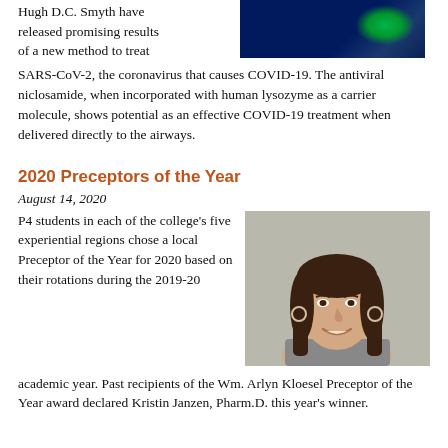Hugh D.C. Smyth have released promising results of a new method to treat SARS-CoV-2, the coronavirus that causes COVID-19. The antiviral niclosamide, when incorporated with human lysozyme as a carrier molecule, shows potential as an effective COVID-19 treatment when delivered directly to the airways.
[Figure (photo): Microscopy image showing blue and green fluorescent cells/tissue against dark background]
2020 Preceptors of the Year
August 14, 2020
P4 students in each of the college's five experiential regions chose a local Preceptor of the Year for 2020 based on their rotations during the 2019-20 academic year. Past recipients of the Wm. Arlyn Kloesel Preceptor of the Year award declared Kristin Janzen, Pharm.D. this year's winner.
[Figure (photo): Portrait photo of a smiling woman with long brown hair and hoop earrings, gray background]